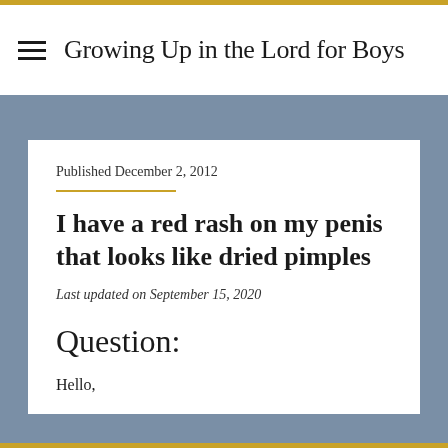Growing Up in the Lord for Boys
Published December 2, 2012
I have a red rash on my penis that looks like dried pimples
Last updated on September 15, 2020
Question:
Hello,